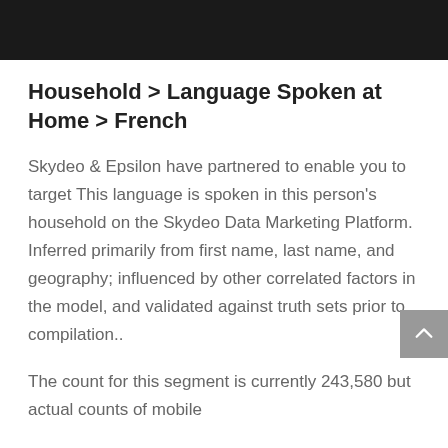Household > Language Spoken at Home > French
Skydeo & Epsilon have partnered to enable you to target This language is spoken in this person's household on the Skydeo Data Marketing Platform. Inferred primarily from first name, last name, and geography; influenced by other correlated factors in the model, and validated against truth sets prior to compilation..
The count for this segment is currently 243,580 but actual counts of mobile